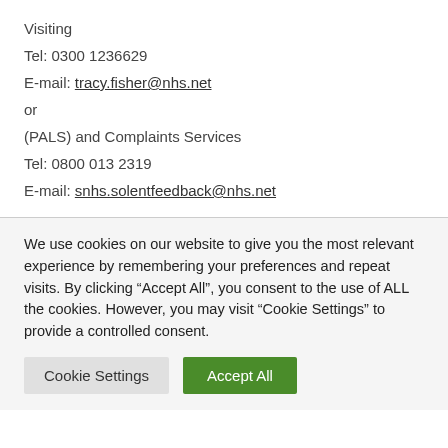Visiting
Tel: 0300 1236629
E-mail: tracy.fisher@nhs.net
or
(PALS) and Complaints Services
Tel: 0800 013 2319
E-mail: snhs.solentfeedback@nhs.net
We use cookies on our website to give you the most relevant experience by remembering your preferences and repeat visits. By clicking “Accept All”, you consent to the use of ALL the cookies. However, you may visit “Cookie Settings” to provide a controlled consent.